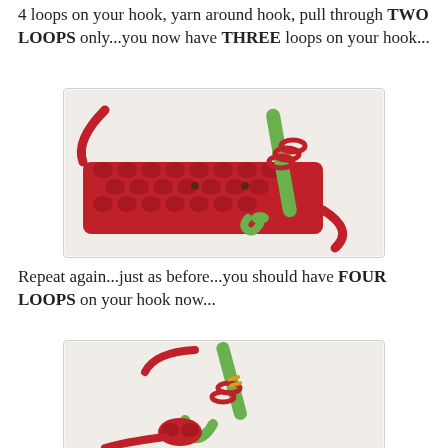4 loops on your hook, yarn around hook, pull through TWO LOOPS only...you now have THREE loops on your hook...
[Figure (photo): Photo of red chunky crochet work in progress on a green crochet hook, showing multiple loops on the hook against a white background.]
Repeat again...just as before...you should have FOUR LOOPS on your hook now...
[Figure (photo): Photo of red yarn on a green crochet hook showing a smaller amount of crochet work, earlier in the process, against a white background.]